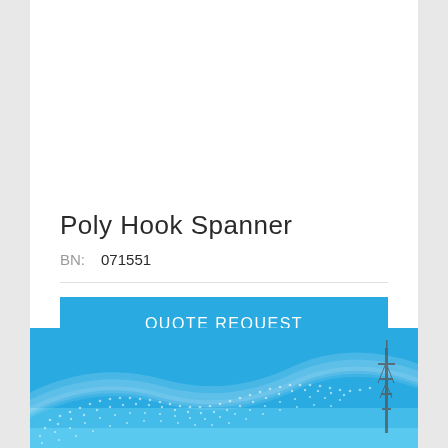Poly Hook Spanner
BN:  071551
QUOTE REQUEST
Compare
[Figure (illustration): Blue banner with white wave/mesh pattern and a vertical tower or antenna silhouette on the right side]